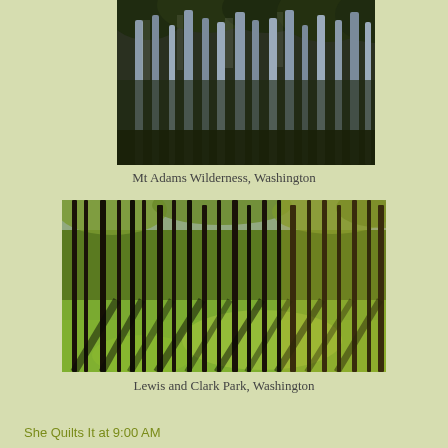[Figure (photo): Tall conifer trees with gray-blue trunks in a dense forest, Mt Adams Wilderness, Washington]
Mt Adams Wilderness, Washington
[Figure (photo): Burned black tree trunks casting long shadows on bright green grass floor in Lewis and Clark Park, Washington]
Lewis and Clark Park, Washington
She Quilts It at 9:00 AM